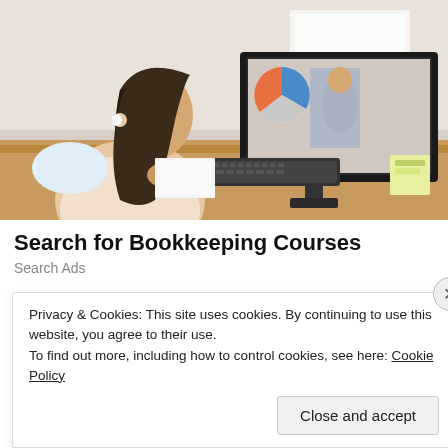[Figure (photo): A young woman with dark hair and wireless earbuds sits at a wooden desk, hands clasped, looking at a large computer monitor displaying a man giving a presentation with a pie chart. A keyboard, notebook, and papers are on the desk.]
Search for Bookkeeping Courses
Search Ads
Privacy & Cookies: This site uses cookies. By continuing to use this website, you agree to their use.
To find out more, including how to control cookies, see here: Cookie Policy
Close and accept